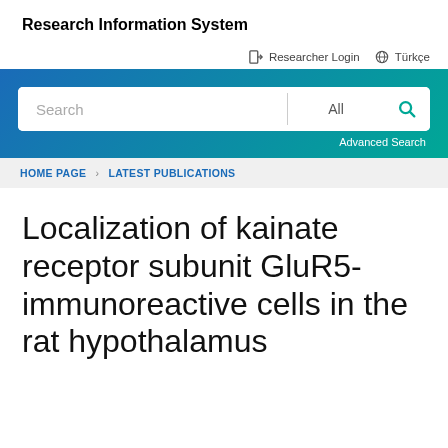Research Information System
Researcher Login  Türkçe
[Figure (screenshot): Search bar with 'Search', 'All' dropdown and search icon button on a teal/blue gradient background, with Advanced Search link below]
HOME PAGE > LATEST PUBLICATIONS
Localization of kainate receptor subunit GluR5-immunoreactive cells in the rat hypothalamus